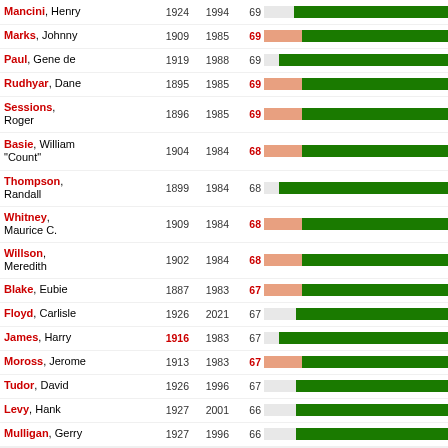[Figure (bar-chart): Musicians lifespans]